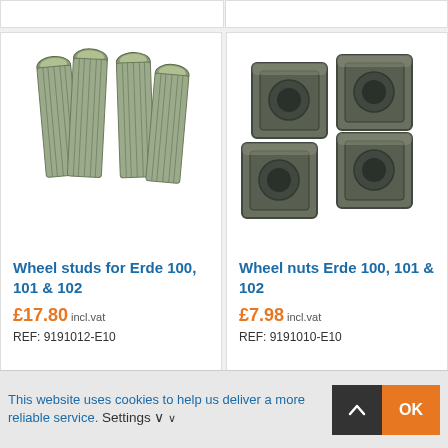[Figure (photo): Four zinc-plated wheel studs/bolts arranged on white background]
Wheel studs for Erde 100, 101 & 102
£17.80 incl.vat
REF: 9191012-E10
[Figure (photo): Four dark-coloured square wheel nuts arranged on white background]
Wheel nuts Erde 100, 101 & 102
£7.98 incl.vat
REF: 9191010-E10
This website uses cookies to help us deliver a more reliable service. Settings ∨